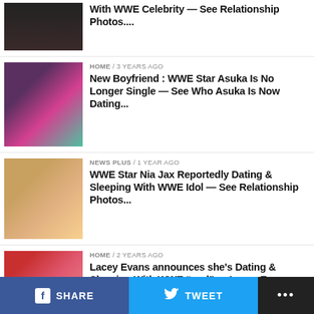With WWE Celebrity — See Relationship Photos....
HOME / 3 years ago
New Boyfriend : WWE Star Asuka Is No Longer Single — See Who Asuka Is Now Dating...
NEWS PLUS / 1 year ago
WWE Star Nia Jax Reportedly Dating & Sleeping With WWE Idol — See Relationship Photos...
HOME / 2 years ago
Lacey Evans announces she's Dating & Sleeping With WWE "god" — Lacey Evans NOW in Relationship
HOME / 1 year ago
Nia Jax Publicizes She's NOW DATING WWE Celebrity — See Relationship Photos...
SHARE   TWEET   ...